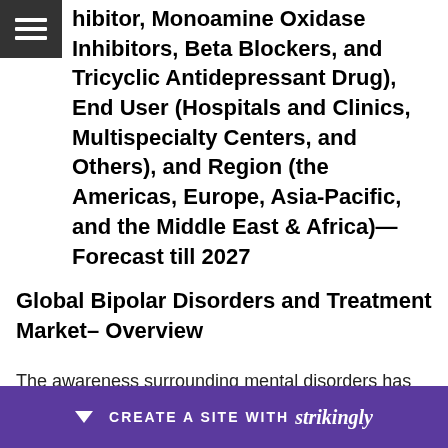hibitor, Monoamine Oxidase Inhibitors, Beta Blockers, and Tricyclic Antidepressant Drug), End User (Hospitals and Clinics, Multispecialty Centers, and Others), and Region (the Americas, Europe, Asia-Pacific, and the Middle East & Africa)—Forecast till 2027
Global Bipolar Disorders and Treatment Market– Overview
The awareness surrounding mental disorders has increased its acceptance in society and also improved its detection and treatment globally. Mark… i…
[Figure (screenshot): Strikingly website builder promotional banner bar at bottom of page, purple background, with dropdown arrow icon, text 'CREATE A SITE WITH strikingly']